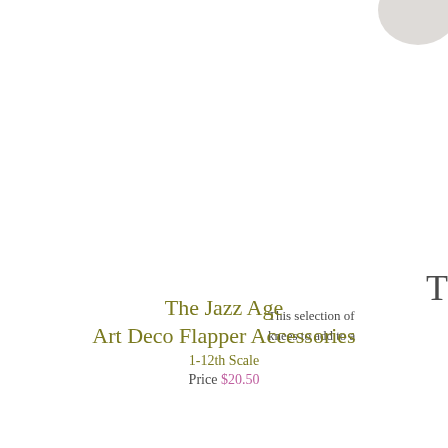[Figure (photo): Partial view of a product image (circular/oval shape) in the upper right corner]
T
This selection of
knees to add to a
The Jazz Age
Art Deco Flapper Accessories
1-12th Scale
Price $20.50